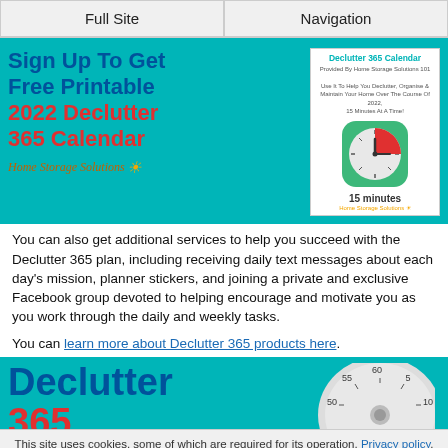Full Site | Navigation
Sign Up To Get Free Printable 2022 Declutter 365 Calendar
[Figure (illustration): Declutter 365 Calendar cover with clock/timer icon showing 15 minutes label, provided by Home Storage Solutions 101]
You can also get additional services to help you succeed with the Declutter 365 plan, including receiving daily text messages about each day's mission, planner stickers, and joining a private and exclusive Facebook group devoted to helping encourage and motivate you as you work through the daily and weekly tasks.
You can learn more about Declutter 365 products here.
Declutter 365
[Figure (illustration): Kitchen timer/dial showing 60, 55, 50, 10, 5 minute markings]
This site uses cookies, some of which are required for its operation. Privacy policy
Agree and Continue